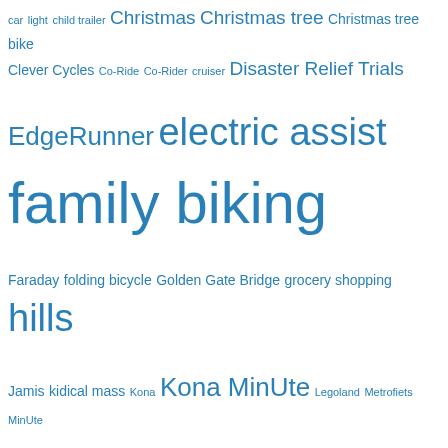[Figure (infographic): Tag cloud of cycling/biking related terms in blue, varying font sizes indicating frequency. Terms include family biking (largest), San Francisco, hills, Kona MinUte, Portland, Rosa Parks Elementary School, sunday Streets, travel, traffic, Xtracycle, Yuba Mundo, electric assist, seattle, Surly Big Dummy, and many others.]